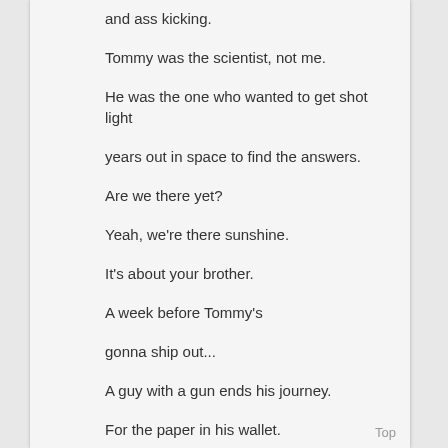and ass kicking.
Tommy was the scientist, not me.
He was the one who wanted to get shot light years out in space to find the answers.
Are we there yet?
Yeah, we're there sunshine.
It's about your brother.
A week before Tommy's
gonna ship out...
A guy with a gun ends his journey.
For the paper in his wallet.
Top